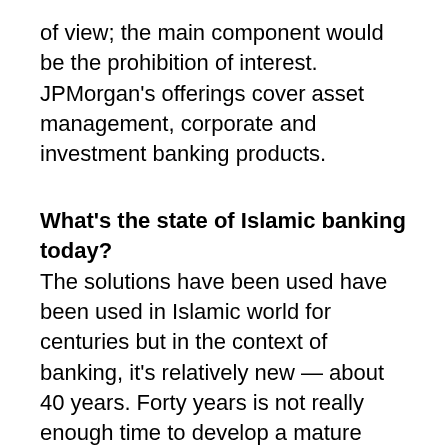of view; the main component would be the prohibition of interest. JPMorgan's offerings cover asset management, corporate and investment banking products.
What's the state of Islamic banking today?
The solutions have been used have been used in Islamic world for centuries but in the context of banking, it's relatively new — about 40 years. Forty years is not really enough time to develop a mature system, and there's still a long ways to go, especially when you keep in mind that the conventional banking system has been around for centuries.
How did you have to rethink the process when designing the product offering?
We've tried many different ways of doing it. If we are developing a bond, for example, there needs